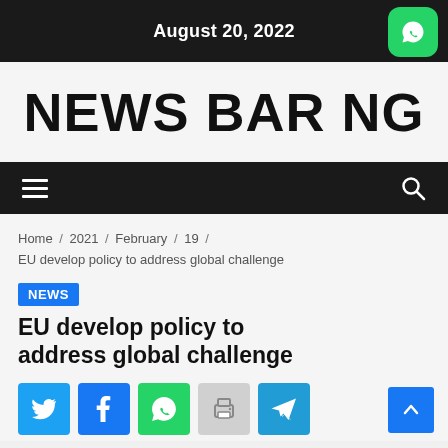August 20, 2022
NEWS BAR NG
Home / 2021 / February / 19 / EU develop policy to address global challenge
NEWS
EU develop policy to address global challenge
[Figure (infographic): Social share buttons: Twitter (blue), Facebook (blue), WhatsApp (green), Print (grey), Telegram (blue)]